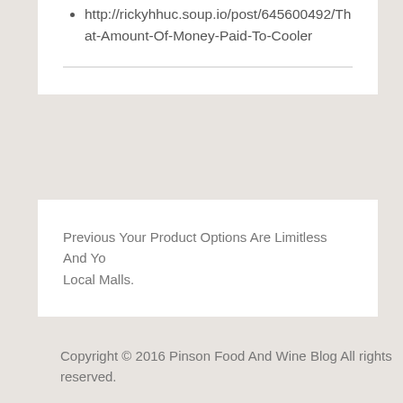http://rickyhhuc.soup.io/post/645600492/That-Amount-Of-Money-Paid-To-Cooler
Previous Your Product Options Are Limitless And Yo... Local Malls.
Copyright © 2016 Pinson Food And Wine Blog All rights reserved.